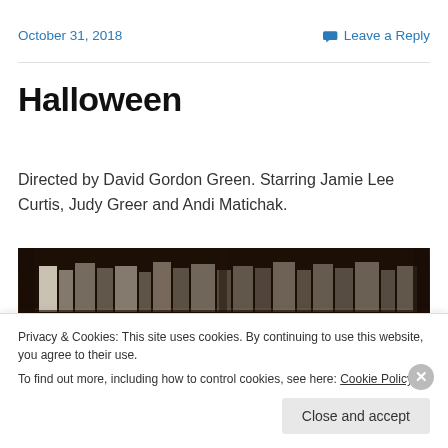October 31, 2018   Leave a Reply
Halloween
Directed by David Gordon Green. Starring Jamie Lee Curtis, Judy Greer and Andi Matichak.
[Figure (photo): Dark image of a bookshelf with books, dimly lit scene]
Privacy & Cookies: This site uses cookies. By continuing to use this website, you agree to their use.
To find out more, including how to control cookies, see here: Cookie Policy
Close and accept